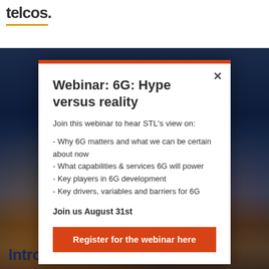telcos.
Webinar: 6G: Hype versus reality
Join this webinar to hear STL's view on:
- Why 6G matters and what we can be certain about now
- What capabilities & services 6G will power
- Key players in 6G development
- Key drivers, variables and barriers for 6G
Join us August 31st
Register for the webinar here
Introduction